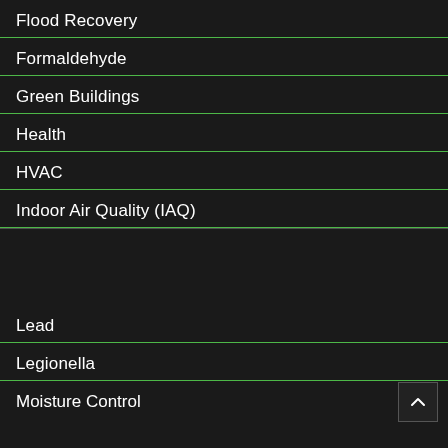Flood Recovery
Formaldehyde
Green Buildings
Health
HVAC
Indoor Air Quality (IAQ)
Lead
Legionella
Moisture Control